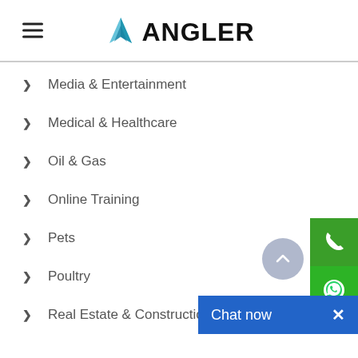ANGLER
Media & Entertainment
Medical & Healthcare
Oil & Gas
Online Training
Pets
Poultry
Real Estate & Construction